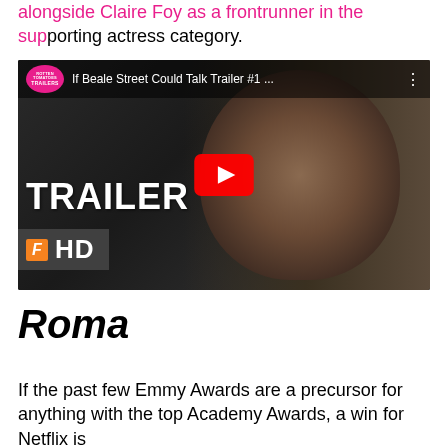alongside Claire Foy as a frontrunner in the supporting actress category.
[Figure (screenshot): YouTube video thumbnail for 'If Beale Street Could Talk Trailer #1 ...' showing a young Black man's face in a cinematic shot, with a YouTube play button in the center, 'TRAILER' text overlaid in white bold, and an 'F HD' Fandango Movies branding bar at the bottom left. The top left shows a Rotten Tomatoes Trailers badge.]
Roma
If the past few Emmy Awards are a precursor for anything with the top Academy Awards, a win for Netflix is